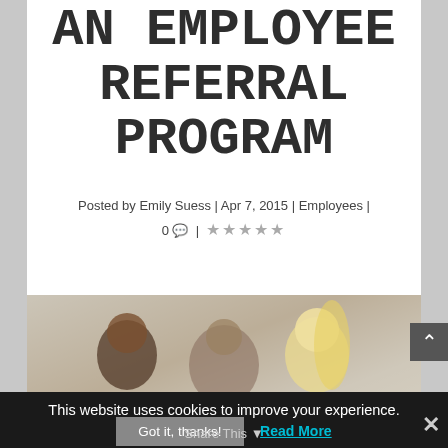AN EMPLOYEE REFERRAL PROGRAM
Posted by Emily Suess | Apr 7, 2015 | Employees | 0 💬 | ☆☆☆☆☆
[Figure (photo): Photo of people in an office setting, two or three individuals visible including a person with curly dark hair and a blonde person]
This website uses cookies to improve your experience.
Got it, thanks! | Read More
Share This